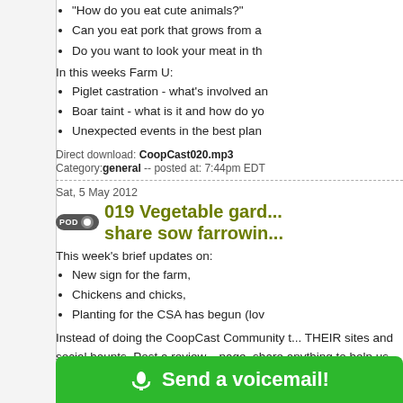"How do you eat cute animals?"
Can you eat pork that grows from a
Do you want to look your meat in th
In this weeks Farm U:
Piglet castration - what's involved an
Boar taint - what is it and how do yo
Unexpected events in the best plan
Direct download: CoopCast020.mp3
Category: general -- posted at: 7:44pm EDT
Sat, 5 May 2012
019 Vegetable gard... share sow farrowin...
This week's brief updates on:
New sign for the farm,
Chickens and chicks,
Planting for the CSA has begun (lov
Instead of doing the CoopCast Community t... THEIR sites and social haunts. Post a review... page, share anything to help us grow the Co...
In the Farmers Choice:
We retell the story of how the week
Share some of the magical moment
The most unexpected event of the e
Send a voicemail!